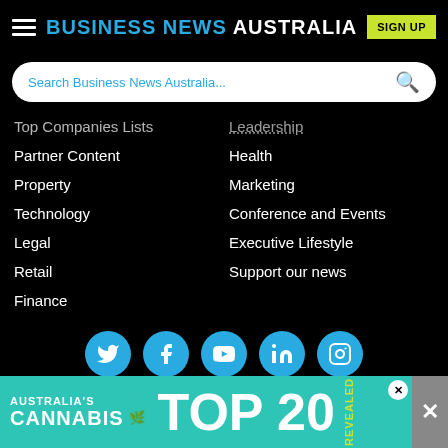Business News Australia
Top Companies Lists
Leadership
Partner Content
Health
Property
Marketing
Technology
Conference and Events
Legal
Executive Lifestyle
Retail
Support our news
Finance
[Figure (infographic): Social media icons: Twitter, Facebook, YouTube, LinkedIn, Instagram]
Copyright © 2022 Business News Australia
[Figure (infographic): Advertisement banner: Australia's Cannabis TOP 20 REVEALED]